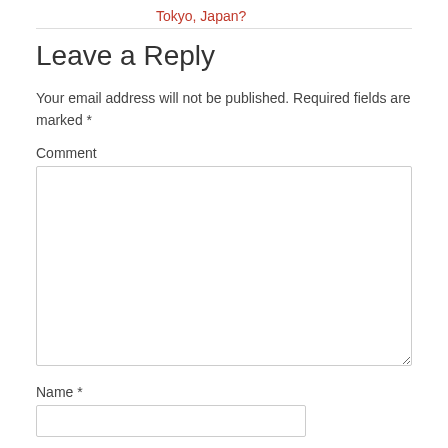Tokyo, Japan?
Leave a Reply
Your email address will not be published. Required fields are marked *
Comment
Name *